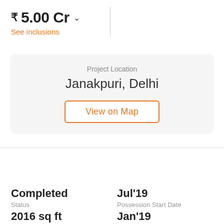₹ 5.00 Cr
See inclusions
Project Location
Janakpuri, Delhi
View on Map
Basic Details
Completed
Status
Jul'19
Possession Start Date
2016 sq ft
Size
Jan'19
Launch Date